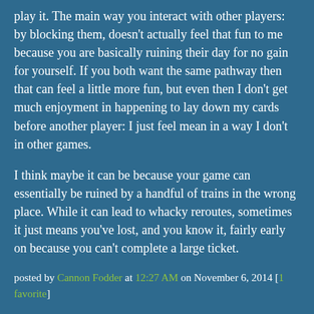play it. The main way you interact with other players: by blocking them, doesn't actually feel that fun to me because you are basically ruining their day for no gain for yourself. If you both want the same pathway then that can feel a little more fun, but even then I don't get much enjoyment in happening to lay down my cards before another player: I just feel mean in a way I don't in other games.
I think maybe it can be because your game can essentially be ruined by a handful of trains in the wrong place. While it can lead to whacky reroutes, sometimes it just means you've lost, and you know it, fairly early on because you can't complete a large ticket.
posted by Cannon Fodder at 12:27 AM on November 6, 2014 [1 favorite]
Ticket to Ride definitely has a similar shortcoming to